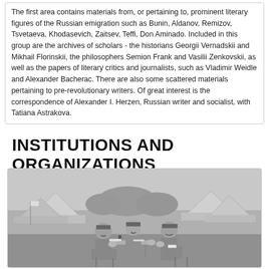The first area contains materials from, or pertaining to, prominent literary figures of the Russian emigration such as Bunin, Aldanov, Remizov, Tsvetaeva, Khodasevich, Zaitsev, Teffi, Don Aminado. Included in this group are the archives of scholars - the historians Georgii Vernadskii and Mikhail Florinskii, the philosophers Semion Frank and Vasilii Zenkovskii, as well as the papers of literary critics and journalists, such as Vladimir Weidle and Alexander Bacherac. There are also some scattered materials pertaining to pre-revolutionary writers. Of great interest is the correspondence of Alexander I. Herzen, Russian writer and socialist, with Tatiana Astrakova.
INSTITUTIONS AND ORGANIZATIONS
[Figure (photo): Black and white historical photograph showing three military officers in uniform sitting around a small table outdoors, with military tents and a field in the background.]